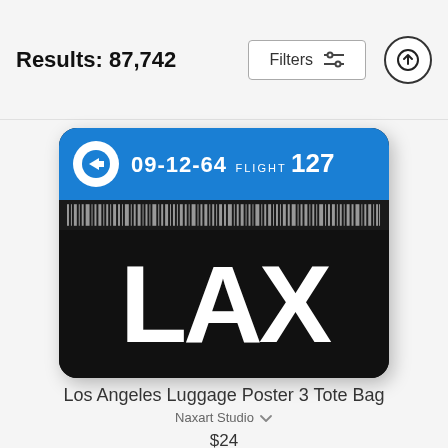Results: 87,742
[Figure (photo): A tote bag product photo showing a black bag with a blue top band displaying '09-12-64 FLIGHT 127' and a white arrow circle logo, a barcode band, and large white 'LAX' text on the black lower portion.]
Los Angeles Luggage Poster 3 Tote Bag
Naxart Studio
$24